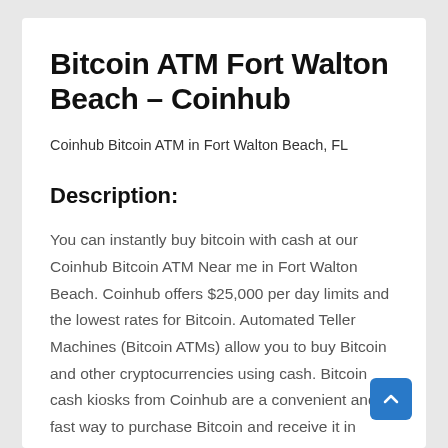Bitcoin ATM Fort Walton Beach – Coinhub
Coinhub Bitcoin ATM in Fort Walton Beach, FL
Description:
You can instantly buy bitcoin with cash at our Coinhub Bitcoin ATM Near me in Fort Walton Beach. Coinhub offers $25,000 per day limits and the lowest rates for Bitcoin. Automated Teller Machines (Bitcoin ATMs) allow you to buy Bitcoin and other cryptocurrencies using cash. Bitcoin cash kiosks from Coinhub are a convenient and fast way to purchase Bitcoin and receive it in minutes directly into your wallet. Coinhub Bitcoin machines can be used quickly and easily. If